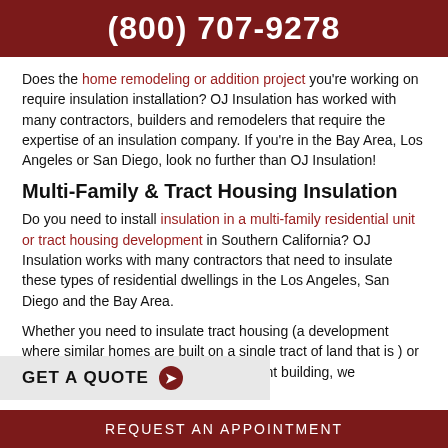(800) 707-9278
Does the home remodeling or addition project you're working on require insulation installation? OJ Insulation has worked with many contractors, builders and remodelers that require the expertise of an insulation company. If you're in the Bay Area, Los Angeles or San Diego, look no further than OJ Insulation!
Multi-Family & Tract Housing Insulation
Do you need to install insulation in a multi-family residential unit or tract housing development in Southern California? OJ Insulation works with many contractors that need to insulate these types of residential dwellings in the Los Angeles, San Diego and the Bay Area.
Whether you need to insulate tract housing (a development where similar homes are built on a single tract of land that is ) or a multi-family residential ke an apartment building, we
GET A QUOTE
REQUEST AN APPOINTMENT